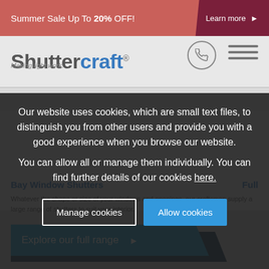Summer Sale Up To 20% OFF! Learn more
[Figure (screenshot): Shuttercraft logo with phone icon and hamburger menu]
Our website uses cookies, which are small text files, to distinguish you from other users and provide you with a good experience when you browse our website.
You can allow all or manage them individually. You can find further details of our cookies here.
Bay Window Shutters
Whatever the shape or size of your windows and openings, our craftsmen supply a large range of shutters to suit your interior.
Explore our full range